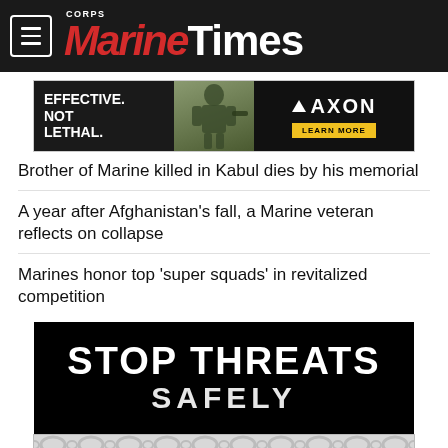Marine Corps Times
[Figure (infographic): AXON advertisement banner: 'EFFECTIVE. NOT LETHAL.' with soldier image and 'LEARN MORE' button]
Brother of Marine killed in Kabul dies by his memorial
A year after Afghanistan’s fall, a Marine veteran reflects on collapse
Marines honor top ‘super squads’ in revitalized competition
[Figure (infographic): Advertisement banner: 'STOP THREATS SAFELY']
[Figure (infographic): Bottom advertisement strip with circular pattern background]